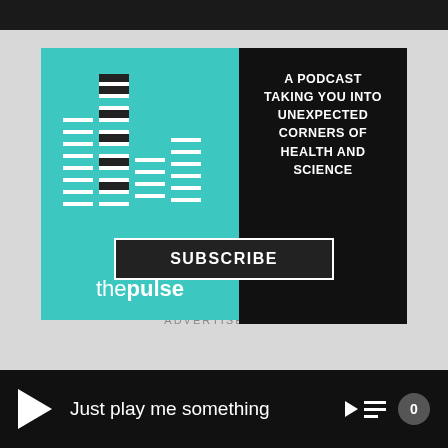[Figure (infographic): The Pulse podcast advertisement. Left teal panel shows equalizer bars graphic and 'thepulse' logo. Right black panel shows text: 'A PODCAST TAKING YOU INTO UNEXPECTED CORNERS OF HEALTH AND SCIENCE'. A SUBSCRIBE button spans both panels at the bottom.]
ADVERTISEMENT
Just play me something